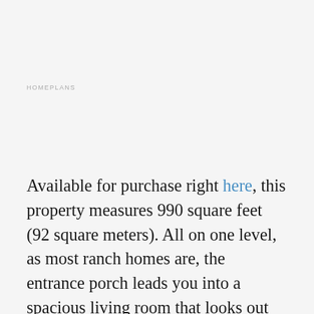HOMEPLANS
Available for purchase right here, this property measures 990 square feet (92 square meters). All on one level, as most ranch homes are, the entrance porch leads you into a spacious living room that looks out over a porch. The kitchen holds a dining nook that also has access to the porch, as well as a utility closet attached to the single carport. The master bedroom has a private ensuite bathroom, while the other two double bedrooms share a